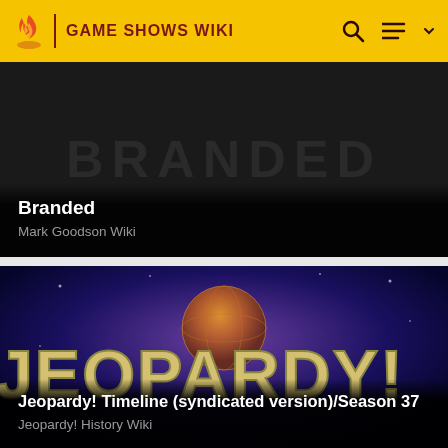GAME SHOWS WIKI
[Figure (screenshot): Dark card showing 'Branded' show with dark background and white text logo]
Branded
Mark Goodson Wiki
[Figure (screenshot): Jeopardy! logo card with globe and metallic JEOPARDY! text on blue/purple background]
Jeopardy! Timeline (syndicated version)/Season 37
Jeopardy! History Wiki